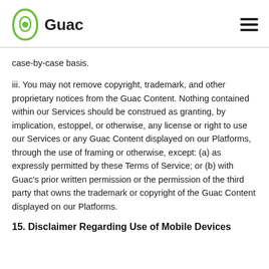Guac
case-by-case basis.
iii. You may not remove copyright, trademark, and other proprietary notices from the Guac Content. Nothing contained within our Services should be construed as granting, by implication, estoppel, or otherwise, any license or right to use our Services or any Guac Content displayed on our Platforms, through the use of framing or otherwise, except: (a) as expressly permitted by these Terms of Service; or (b) with Guac’s prior written permission or the permission of the third party that owns the trademark or copyright of the Guac Content displayed on our Platforms.
15. Disclaimer Regarding Use of Mobile Devices